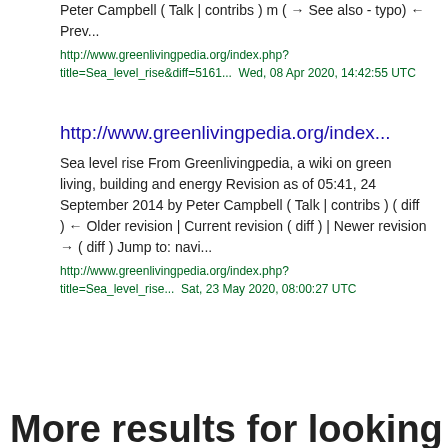Peter Campbell ( Talk | contribs ) m ( → See also - typo) ← Prev...
http://www.greenlivingpedia.org/index.php?title=Sea_level_rise&diff=5161...  Wed, 08 Apr 2020, 14:42:55 UTC
http://www.greenlivingpedia.org/index...
Sea level rise From Greenlivingpedia, a wiki on green living, building and energy Revision as of 05:41, 24 September 2014 by Peter Campbell ( Talk | contribs ) ( diff ) ← Older revision | Current revision ( diff ) | Newer revision → ( diff ) Jump to: navi...
http://www.greenlivingpedia.org/index.php?title=Sea_level_rise...  Sat, 23 May 2020, 08:00:27 UTC
More results for looking over Greenland...